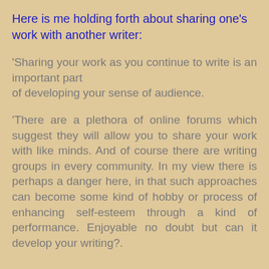Here is me holding forth about sharing one's work with another writer:
'Sharing your work as you continue to write is an important part of developing your sense of audience.
'There are a plethora of online forums which suggest they will allow you to share your work with like minds. And of course there are writing groups in every community. In my view there is perhaps a danger here, in that such approaches can become some kind of hobby or process of enhancing self-esteem through a kind of performance. Enjoyable no doubt but can it develop your writing?.